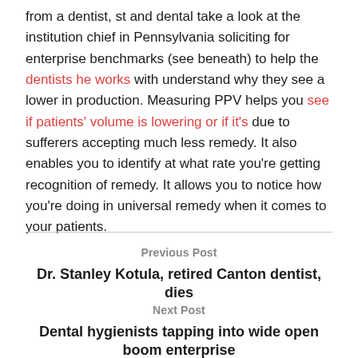from a dentist, st and dental take a look at the institution chief in Pennsylvania soliciting for enterprise benchmarks (see beneath) to help the dentists he works with understand why they see a lower in production. Measuring PPV helps you see if patients' volume is lowering or if it's due to sufferers accepting much less remedy. It also enables you to identify at what rate you're getting recognition of remedy. It allows you to notice how you're doing in universal remedy when it comes to your patients.
Previous Post
Dr. Stanley Kotula, retired Canton dentist, dies
Next Post
Dental hygienists tapping into wide open boom enterprise